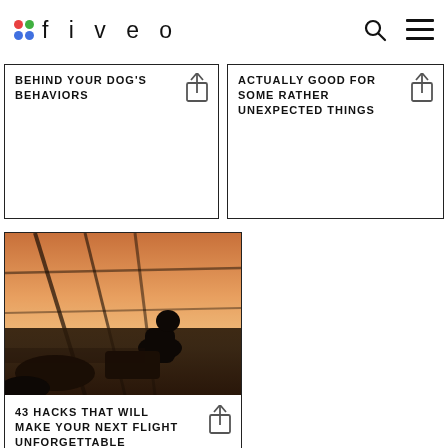fiveo
BEHIND YOUR DOG'S BEHAVIORS
ACTUALLY GOOD FOR SOME RATHER UNEXPECTED THINGS
[Figure (photo): Silhouette of a person sitting in an airport terminal with large windows showing a warm sunset outside, diagonal structural beams visible]
43 HACKS THAT WILL MAKE YOUR NEXT FLIGHT UNFORGETTABLE